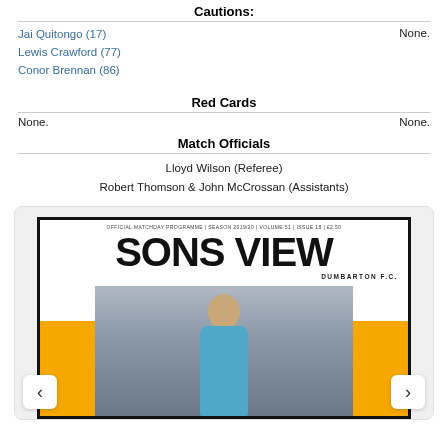Cautions
Jai Quitongo (17)
Lewis Crawford (77)
Conor Brennan (86)
None.
Red Cards
None.   None.
Match Officials
Lloyd Wilson (Referee)
Robert Thomson & John McCrossan (Assistants)
[Figure (other): Sons View official matchday programme magazine cover for Dumbarton F.C., Season 2019/20, Volume 51, Issue 18, £2.50, showing a footballer on a yellow and grey background with navigation arrows.]